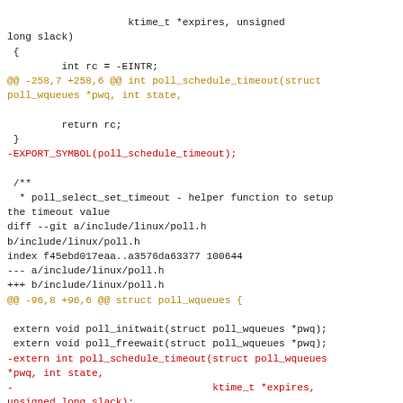[Figure (screenshot): Code diff showing changes to poll_schedule_timeout in Linux kernel source files fs/select.c and include/linux/poll.h, with removed lines in red and hunk headers in amber/gold color.]